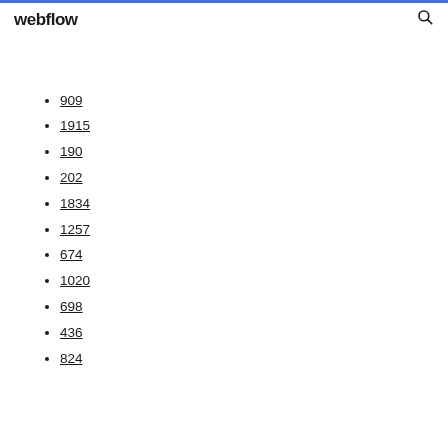webflow [search icon]
909
1915
190
202
1834
1257
674
1020
698
436
824